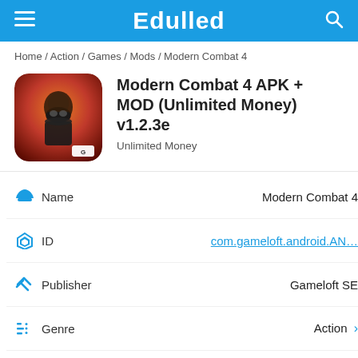Edulled
Home / Action / Games / Mods / Modern Combat 4
Modern Combat 4 APK + MOD (Unlimited Money) v1.2.3e
Unlimited Money
| Icon | Field | Value |
| --- | --- | --- |
| android-icon | Name | Modern Combat 4 |
| play-icon | ID | com.gameloft.android.AN… |
| tools-icon | Publisher | Gameloft SE |
| list-icon | Genre | Action > |
| gamepad-icon | MOD Features | Unlimited Money |
| bolt-icon | Version | 1.2.3e |